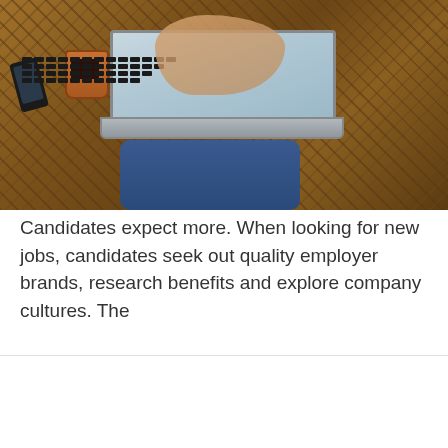[Figure (photo): Overhead view of a person sitting on a wooden herringbone floor, typing on a laptop. They hold a coffee cup in one hand. A smartphone is visible on the floor nearby. The person is wearing jeans and an orange/brown sweater.]
Candidates expect more. When looking for new jobs, candidates seek out quality employer brands, research benefits and explore company cultures. The
This site uses cookies. Check out our Privacy Policy to find out more.